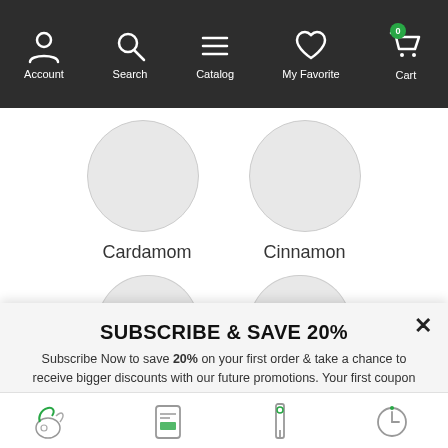[Figure (screenshot): Mobile app navigation bar with icons: Account (person icon), Search (magnifying glass), Catalog (hamburger menu), My Favorite (heart icon), Cart (shopping cart with badge showing 0)]
[Figure (screenshot): Product listing area showing two circular product images labeled Cardamom and Cinnamon, and partial circles below]
SUBSCRIBE & SAVE 20%
Subscribe Now to save 20% on your first order & take a chance to receive bigger discounts with our future promotions. Your first coupon code will be emailed instantly.
[Figure (screenshot): Email input field with placeholder 'Enter e-mail address' and green SUBSCRIBE button]
[Figure (screenshot): Bottom navigation bar with four icons representing different app sections]